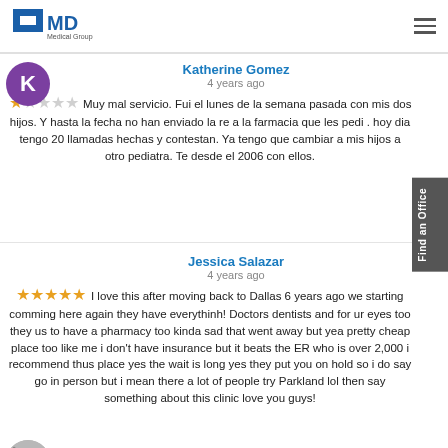MD Medical Group
Katherine Gomez
4 years ago
★☆☆☆☆ Muy mal servicio. Fui el lunes de la semana pasada con mis dos hijos. Y hasta la fecha no han enviado la re a la farmacia que les pedi . hoy dia tengo 20 llamadas hechas y contestan. Ya tengo que cambiar a mis hijos a otro pediatra. Te desde el 2006 con ellos.
Jessica Salazar
4 years ago
★★★★★ I love this after moving back to Dallas 6 years ago we starting comming here again they have everythinh! Doctors dentists and for ur eyes too they us to have a pharmacy too kinda sad that went away but yea pretty cheap place too like me i don't have insurance but it beats the ER who is over 2,000 i recommend thus place yes the wait is long yes they put you on hold so i do say go in person but i mean there a lot of people try Parkland lol then say something about this clinic love you guys!
Sra Martinez